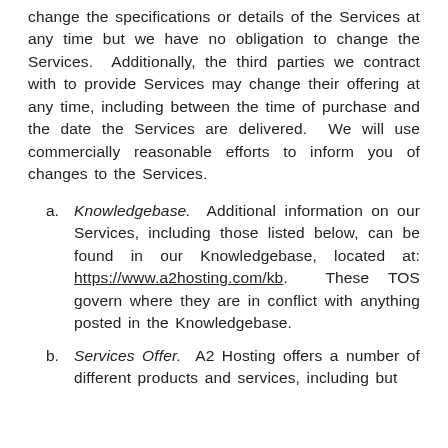change the specifications or details of the Services at any time but we have no obligation to change the Services.  Additionally, the third parties we contract with to provide Services may change their offering at any time, including between the time of purchase and the date the Services are delivered.  We will use commercially reasonable efforts to inform you of changes to the Services.
Knowledgebase.  Additional information on our Services, including those listed below, can be found in our Knowledgebase, located at: https://www.a2hosting.com/kb.  These TOS govern where they are in conflict with anything posted in the Knowledgebase.
Services Offer.  A2 Hosting offers a number of different products and services, including but